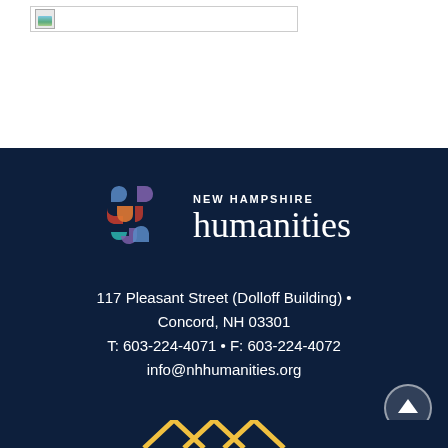[Figure (illustration): Broken image placeholder in the top white section]
[Figure (logo): New Hampshire Humanities logo with colorful interlocking puzzle-piece icon and text 'NEW HAMPSHIRE humanities']
117 Pleasant Street (Dolloff Building) • Concord, NH 03301
T: 603-224-4071 • F: 603-224-4072
info@nhhumanities.org